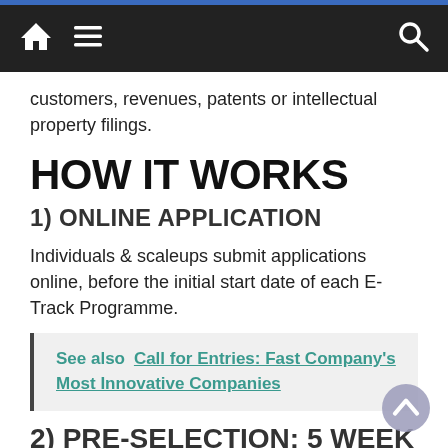Navigation bar with home, menu, and search icons
customers, revenues, patents or intellectual property filings.
HOW IT WORKS
1) ONLINE APPLICATION
Individuals & scaleups submit applications online, before the initial start date of each E-Track Programme.
See also  Call for Entries: Fast Company's Most Innovative Companies
2) PRE-SELECTION: 5 WEEK